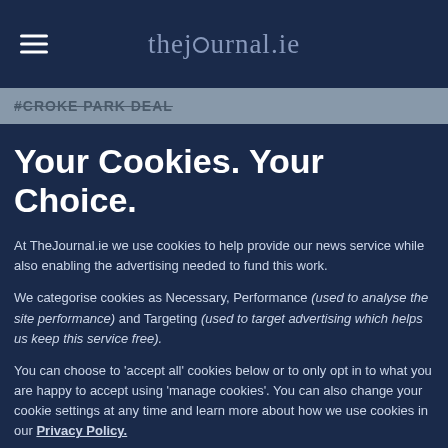thejournal.ie
#CROKE PARK DEAL
Your Cookies. Your Choice.
At TheJournal.ie we use cookies to help provide our news service while also enabling the advertising needed to fund this work.
We categorise cookies as Necessary, Performance (used to analyse the site performance) and Targeting (used to target advertising which helps us keep this service free).
You can choose to 'accept all' cookies below or to only opt in to what you are happy to accept using 'manage cookies'. You can also change your cookie settings at any time and learn more about how we use cookies in our Privacy Policy.